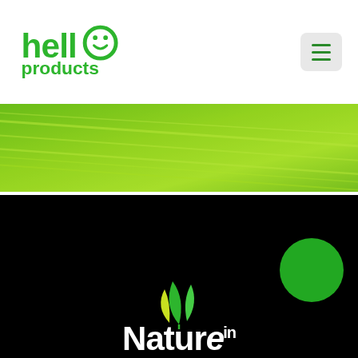[Figure (logo): Hello Products logo — green stylized text 'hello' with a smiley face replacing the 'o', and 'products' below in green]
[Figure (other): Hamburger menu icon with three horizontal green lines on a light grey rounded rectangle background]
[Figure (photo): Close-up photo of a bright green leaf showing leaf veins, used as a decorative banner]
[Figure (illustration): Black background section with a green circle on the right, a leaf/plant logo icon in the center-bottom, and large white text reading 'Nature' with 'in' as superscript]